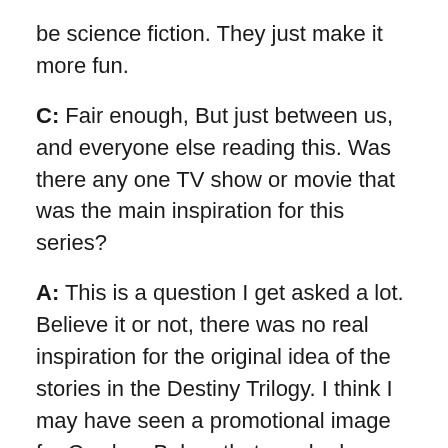be science fiction. They just make it more fun.
C: Fair enough, But just between us, and everyone else reading this. Was there any one TV show or movie that was the main inspiration for this series?
A: This is a question I get asked a lot. Believe it or not, there was no real inspiration for the original idea of the stories in the Destiny Trilogy. I think I may have seen a promotional image for Cowboy Bebop that sparked my interest, but I didn’t watch the show until I’d already planned most of the storyline of the Destiny Trilogy. And I didn’t watch Firefly until after the movie, Serenity, released. I was horrified, at first, how similar those two amazing shows and the Destiny Trilogy were. I didn’t know whether to table the novels or keep working on them. But I’m glad I did! If there were any inspiration for the series, it